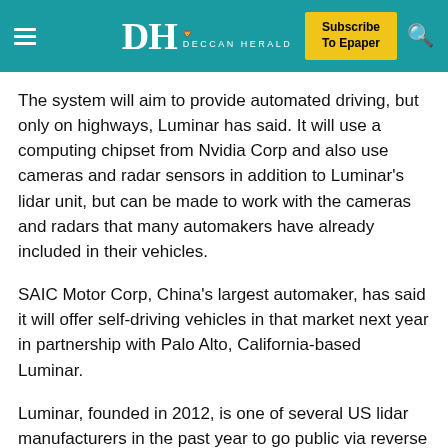Deccan Herald — Subscribe To Epaper
The system will aim to provide automated driving, but only on highways, Luminar has said. It will use a computing chipset from Nvidia Corp and also use cameras and radar sensors in addition to Luminar's lidar unit, but can be made to work with the cameras and radars that many automakers have already included in their vehicles.
SAIC Motor Corp, China's largest automaker, has said it will offer self-driving vehicles in that market next year in partnership with Palo Alto, California-based Luminar.
Luminar, founded in 2012, is one of several US lidar manufacturers in the past year to go public via reverse mergers with blank-check companies.